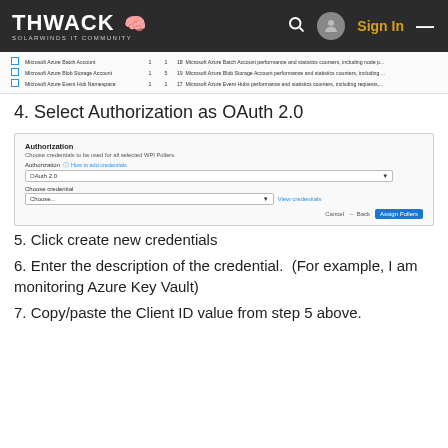THWACK SOLARWINDS IT COMMUNITY  Sign In
[Figure (screenshot): Partial table listing Microsoft Azure Batch Account, Microsoft Azure Blob Storage Account, and Microsoft Azure Event Hub Namespace rows with checkboxes and truncated description columns]
4. Select Authorization as OAuth 2.0
[Figure (screenshot): Authorization panel showing Authorization dropdown set to OAuth 2.0, Choose credential dropdown, and buttons Cancel, Back, Assign Pollers]
5. Click create new credentials
6. Enter the description of the credential.  (For example, I am monitoring Azure Key Vault)
7. Copy/paste the Client ID value from step 5 above.